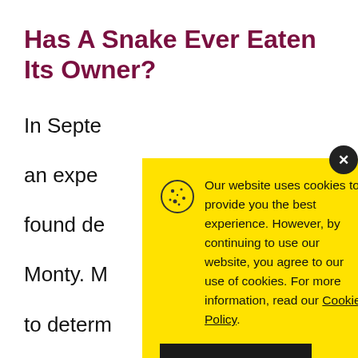Has A Snake Ever Eaten Its Owner?
In Septe... an expe... found de... Monty. M... to determ... asphyxia...
Our website uses cookies to provide you the best experience. However, by continuing to use our website, you agree to our use of cookies. For more information, read our Cookie Policy.
Accept